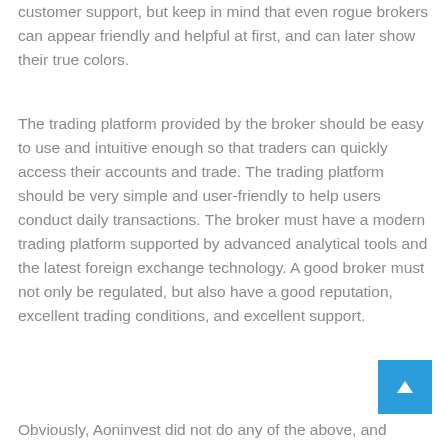customer support, but keep in mind that even rogue brokers can appear friendly and helpful at first, and can later show their true colors.
The trading platform provided by the broker should be easy to use and intuitive enough so that traders can quickly access their accounts and trade. The trading platform should be very simple and user-friendly to help users conduct daily transactions. The broker must have a modern trading platform supported by advanced analytical tools and the latest foreign exchange technology. A good broker must not only be regulated, but also have a good reputation, excellent trading conditions, and excellent support.
Obviously, Aoninvest did not do any of the above, and